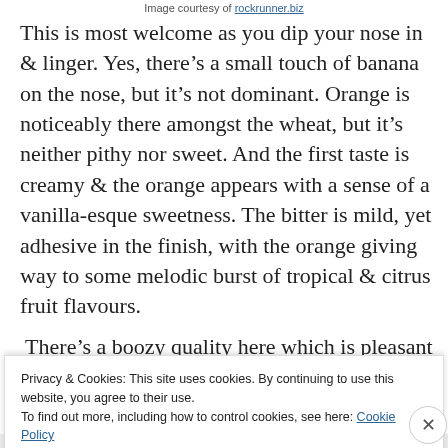Image courtesy of rockrunner.biz
This is most welcome as you dip your nose in & linger. Yes, there's a small touch of banana on the nose, but it's not dominant. Orange is noticeably there amongst the wheat, but it's neither pithy nor sweet. And the first taste is creamy & the orange appears with a sense of a vanilla-esque sweetness. The bitter is mild, yet adhesive in the finish, with the orange giving way to some melodic burst of tropical & citrus fruit flavours.
There's a boozy quality here which is pleasant
Privacy & Cookies: This site uses cookies. By continuing to use this website, you agree to their use.
To find out more, including how to control cookies, see here: Cookie Policy
Close and accept